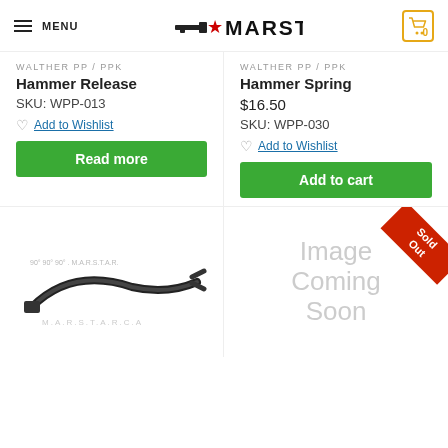MENU | MARSTAR | 0
WALTHER PP / PPK
Hammer Release
SKU: WPP-013
Add to Wishlist
Read more
WALTHER PP / PPK
Hammer Spring
$16.50
SKU: WPP-030
Add to Wishlist
Add to cart
[Figure (photo): Hammer release part for Walther PP/PPK, dark metal curved piece]
[Figure (other): Image Coming Soon placeholder with Sold Out badge]